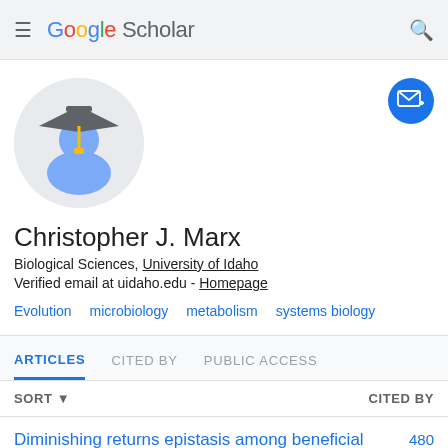Google Scholar
[Figure (illustration): Google Scholar profile avatar: circular gray background with a blue silhouette wearing a dark gray graduation cap with a yellow tassel]
[Figure (illustration): Blue circular follow/email button with envelope and plus icon]
Christopher J. Marx
Biological Sciences, University of Idaho
Verified email at uidaho.edu - Homepage
Evolution
microbiology
metabolism
systems biology
ARTICLES  CITED BY  PUBLIC ACCESS
SORT ▾  CITED BY
Diminishing returns epistasis among beneficial  480